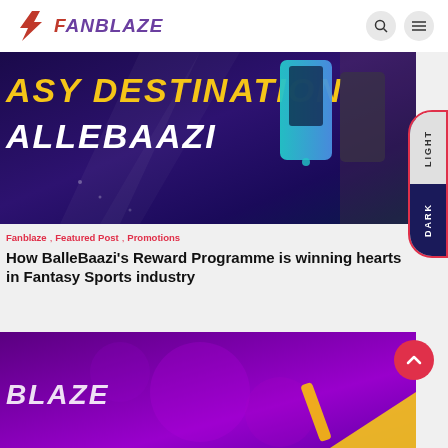FANBLAZE
[Figure (photo): BalleBaazi fantasy sports promotional banner with purple background, yellow text 'ASY DESTINATION' and white text 'ALLEBAAZI', with smartphones displayed]
Fanblaze , Featured Post , Promotions
How BalleBaazi's Reward Programme is winning hearts in Fantasy Sports industry
[Figure (photo): Fanblaze promotional banner with purple gradient background and BLAZE logo text, with yellow shape element]